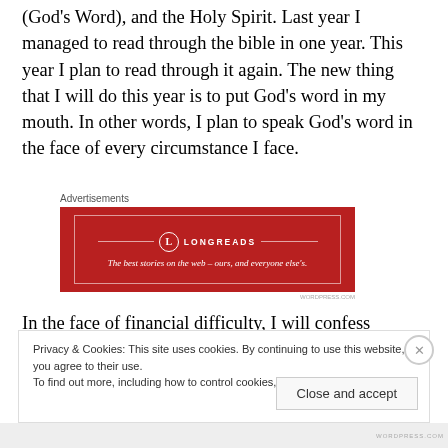(God's Word), and the Holy Spirit. Last year I managed to read through the bible in one year. This year I plan to read through it again. The new thing that I will do this year is to put God's word in my mouth. In other words, I plan to speak God's word in the face of every circumstance I face.
[Figure (other): Longreads advertisement banner: red background with Longreads logo and tagline 'The best stories on the web – ours, and everyone else's.']
In the face of financial difficulty, I will confess
Privacy & Cookies: This site uses cookies. By continuing to use this website, you agree to their use. To find out more, including how to control cookies, see here: Cookie Policy
Close and accept